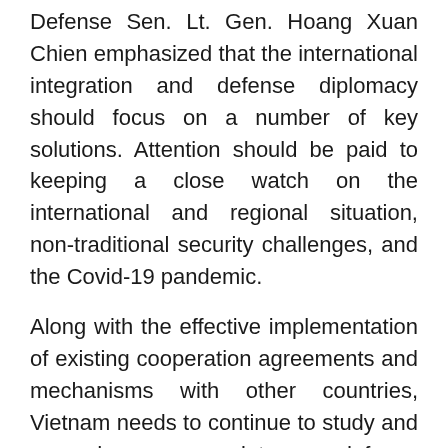Defense Sen. Lt. Gen. Hoang Xuan Chien emphasized that the international integration and defense diplomacy should focus on a number of key solutions. Attention should be paid to keeping a close watch on the international and regional situation, non-traditional security challenges, and the Covid-19 pandemic.
Along with the effective implementation of existing cooperation agreements and mechanisms with other countries, Vietnam needs to continue to study and expand appropriate defense cooperation relations and areas, focusing on improving the efficiency of border diplomacy, the law enforcement at sea and overcoming war consequences, he went on.